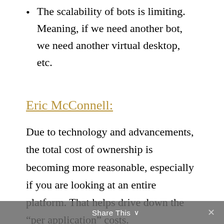The scalability of bots is limiting. Meaning, if we need another bot, we need another virtual desktop, etc.
Eric McConnell:
Due to technology and advancements, the total cost of ownership is becoming more reasonable, especially if you are looking at an entire platform. That helps drive down the “per application” costs.
Other ways to reduce cost include utilizing solutions that provide prebuilt development
Share This ∨  ✕